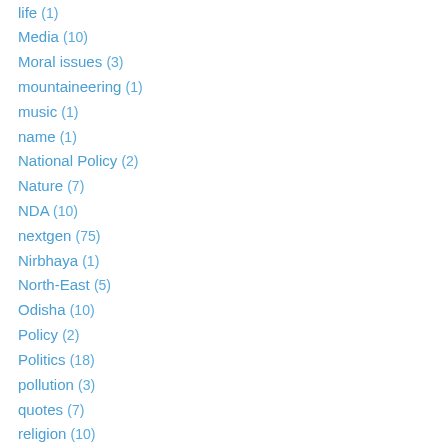life (1)
Media (10)
Moral issues (3)
mountaineering (1)
music (1)
name (1)
National Policy (2)
Nature (7)
NDA (10)
nextgen (75)
Nirbhaya (1)
North-East (5)
Odisha (10)
Policy (2)
Politics (18)
pollution (3)
quotes (7)
religion (10)
responsibility (22)
RTI (1)